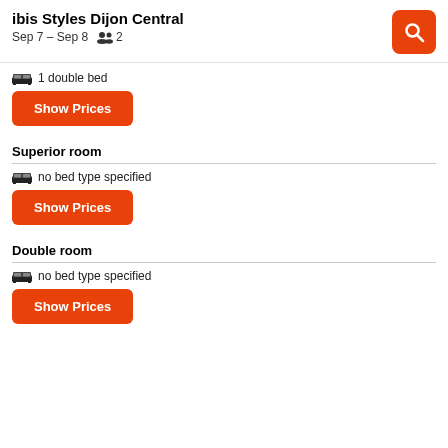ibis Styles Dijon Central
Sep 7 – Sep 8   2
1 double bed
Show Prices
Superior room
no bed type specified
Show Prices
Double room
no bed type specified
Show Prices